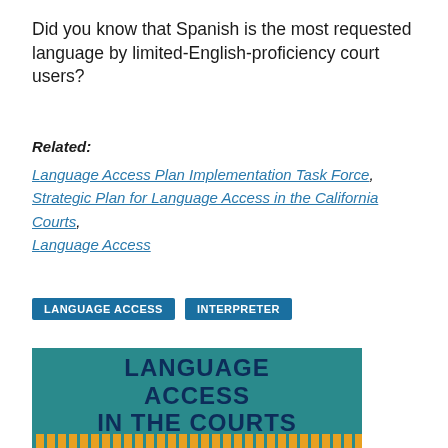Did you know that Spanish is the most requested language by limited-English-proficiency court users?
Related:
Language Access Plan Implementation Task Force, Strategic Plan for Language Access in the California Courts, Language Access
LANGUAGE ACCESS
INTERPRETER
[Figure (illustration): Teal/green background graphic with bold dark navy text reading LANGUAGE ACCESS IN THE COURTS in large uppercase letters, with a row of gold vertical bar stripes along the bottom edge.]